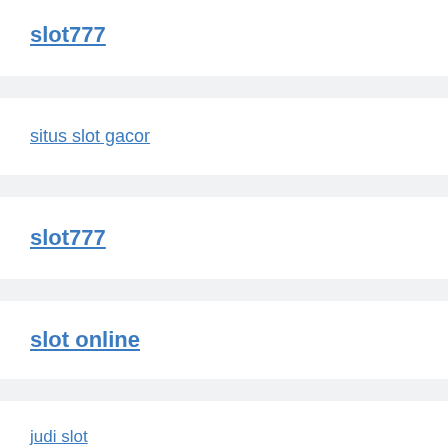slot777
situs slot gacor
slot777
slot online
judi slot